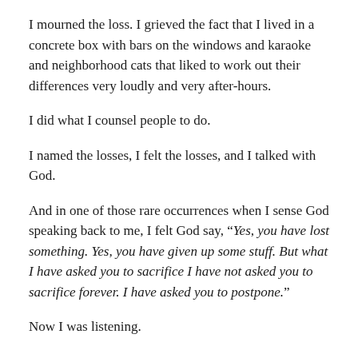I mourned the loss. I grieved the fact that I lived in a concrete box with bars on the windows and karaoke and neighborhood cats that liked to work out their differences very loudly and very after-hours.
I did what I counsel people to do.
I named the losses, I felt the losses, and I talked with God.
And in one of those rare occurrences when I sense God speaking back to me, I felt God say, “Yes, you have lost something. Yes, you have given up some stuff. But what I have asked you to sacrifice I have not asked you to sacrifice forever. I have asked you to postpone.”
Now I was listening.